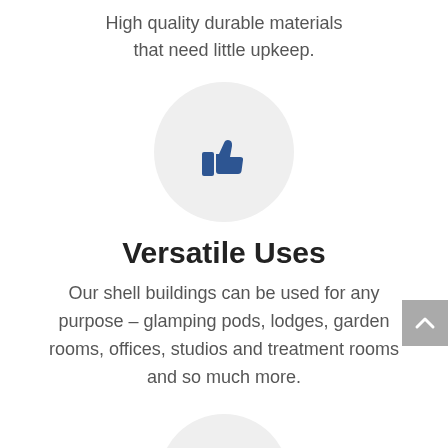High quality durable materials that need little upkeep.
[Figure (illustration): Thumbs up icon inside a light grey circle]
Versatile Uses
Our shell buildings can be used for any purpose – glamping pods, lodges, garden rooms, offices, studios and treatment rooms and so much more.
[Figure (illustration): Calendar icon inside a light grey circle, partially visible at bottom]